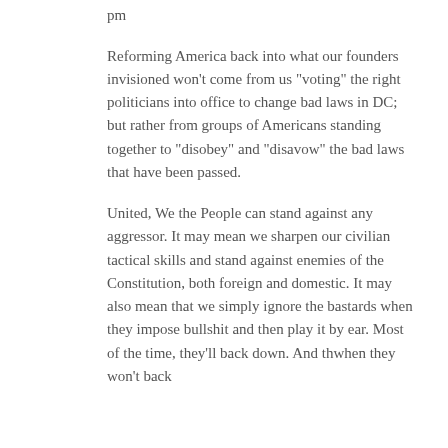pm
Reforming America back into what our founders invisioned won’t come from us “voting” the right politicians into office to change bad laws in DC; but rather from groups of Americans standing together to “disobey” and “disavow” the bad laws that have been passed.
United, We the People can stand against any aggressor. It may mean we sharpen our civilian tactical skills and stand against enemies of the Constitution, both foreign and domestic. It may also mean that we simply ignore the bastards when they impose bullshit and then play it by ear. Most of the time, they’ll back down. And thwhen they won’t back